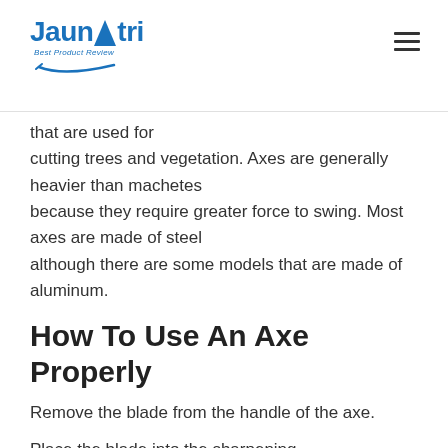Jaunatri – Best Product Review
that are used for cutting trees and vegetation. Axes are generally heavier than machetes because they require greater force to swing. Most axes are made of steel although there are some models that are made of aluminum.
How To Use An Axe Properly
Remove the blade from the handle of the axe.
Place the blade into the sharpening